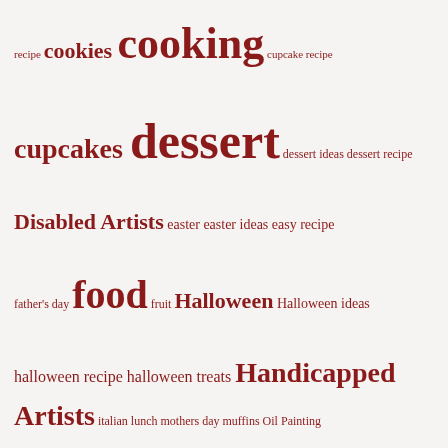[Figure (infographic): Tag cloud with food, recipe, and holiday-related terms in various sizes, all in dark red on light gray background. Terms include: recipe, cookies, cooking, cupcake recipe, cupcakes, dessert, dessert ideas, dessert recipe, Disabled Artists, easter, easter ideas, easy recipe, father's day, food, fruit, Halloween, Halloween ideas, halloween recipe, halloween treats, Handicapped Artists, italian, lunch, mothers day, muffins, Oil Painting, patriotic, peanut butter, pie, pie recipe, recipe, recipes, snacks, soup, St. Paddy's Day, St. Paddy's Day ideas, St. Patrick's Day, St. Patrick's Day Ideas, strawberry, sugar cookies, summer dessert, summer pies, super bowl food, sweets, THANKSGIVING, thanksgiving dessert, Thanksgiving dessert ideas, Thanksgiving desserts, Thanksgiving ideas, THASC, Valentine's Day, valentine's day recipe, wedding cake]